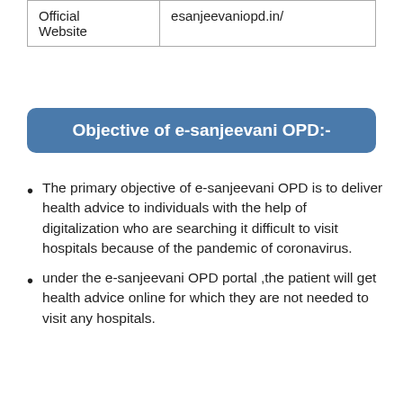| Official Website | esanjeevaniopd.in/ |
Objective of e-sanjeevani OPD:-
The primary objective of e-sanjeevani OPD is to deliver health advice to individuals with the help of digitalization who are searching it difficult to visit hospitals because of the pandemic of coronavirus.
under the e-sanjeevani OPD portal ,the patient will get health advice online for which they are not needed to visit any hospitals.